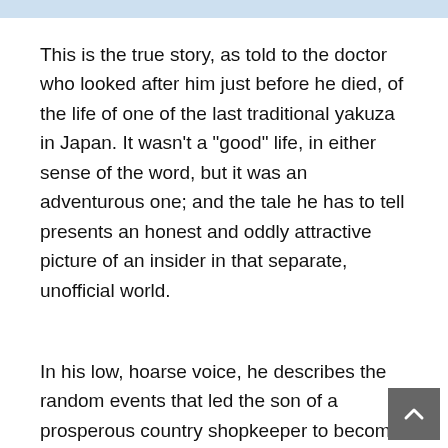This is the true story, as told to the doctor who looked after him just before he died, of the life of one of the last traditional yakuza in Japan. It wasn't a "good" life, in either sense of the word, but it was an adventurous one; and the tale he has to tell presents an honest and oddly attractive picture of an insider in that separate, unofficial world.
In his low, hoarse voice, he describes the random events that led the son of a prosperous country shopkeeper to become a member, and ultimately the leader, of a gang organizing illegal dice games in Tokyo's liveliest entertainment area. He talks about his first police raid, and the brutal interrogation and